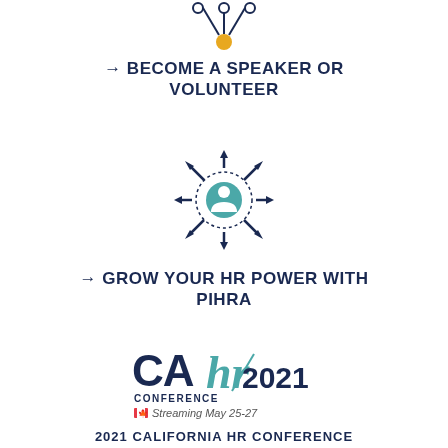[Figure (illustration): Network/speaker icon with nodes connected by lines and an orange/gold central node]
→ BECOME A SPEAKER OR VOLUNTEER
[Figure (illustration): Person icon in center with 8 arrows pointing outward in all directions, surrounded by dotted circle]
→ GROW YOUR HR POWER WITH PIHRA
[Figure (logo): CAhr Conference 2021 logo with Canadian flag icon and text 'Streaming May 25-27']
2021 CALIFORNIA HR CONFERENCE